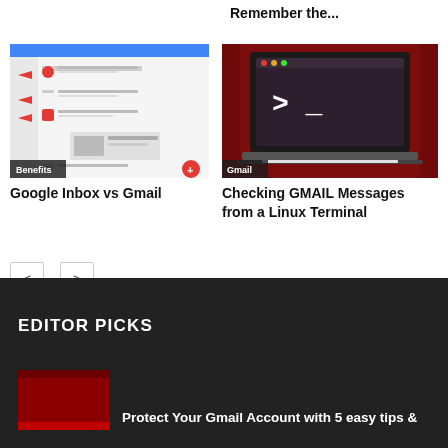Remember the...
[Figure (screenshot): Screenshot of Gmail/Google Inbox interface with red arrows pointing to features, labeled 'Benefits' badge at bottom left and a red circle button at bottom right.]
Google Inbox vs Gmail
[Figure (screenshot): Dark red themed image of a laptop showing a Linux terminal with a command prompt '> _', labeled 'Gmail' badge at bottom left.]
Checking GMAIL Messages from a Linux Terminal
< >
EDITOR PICKS
Protect Your Gmail Account with 5 easy tips &